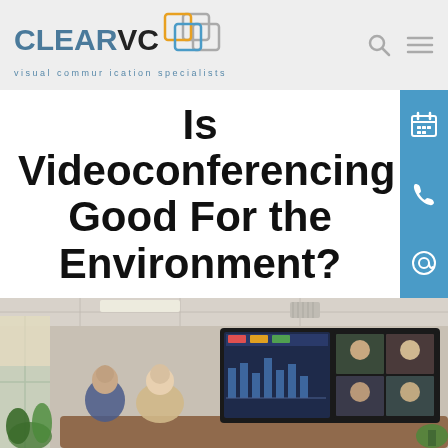CLEAR VC visual communication specialists
Is Videoconferencing Good For the Environment?
[Figure (photo): Two people sitting at a conference room table looking at large display screens showing a video conference with multiple participants. A clock is visible on the wall behind them, and there are plants near a window on the left.]